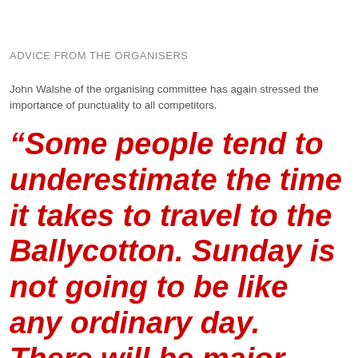ADVICE FROM THE ORGANISERS
John Walshe of the organising committee has again stressed the importance of punctuality to all competitors.
“Some people tend to underestimate the time it takes to travel to the Ballycotton. Sunday is not going to be like any ordinary day. There will be major traffic restrictions in place from early morning. We will again be operating a ‘park